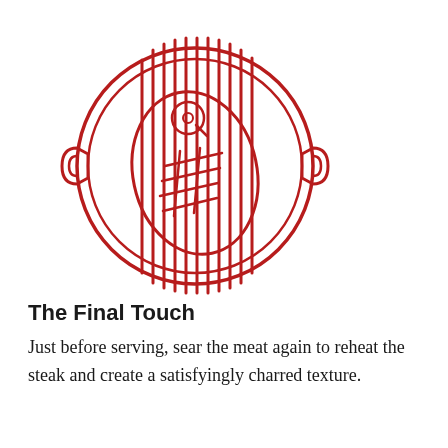[Figure (illustration): Red line art illustration of a grill pan viewed from above, showing a round pan with two side handles, vertical grill lines, and a steak shape with grill marks, a circular bone, and cross-hatch marks in the center.]
The Final Touch
Just before serving, sear the meat again to reheat the steak and create a satisfyingly charred texture.